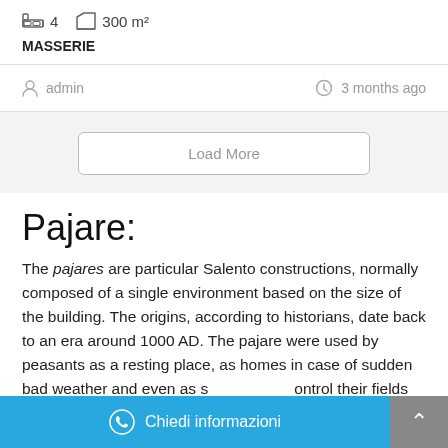4  300 m²
MASSERIE
admin
3 months ago
Load More
Pajare:
The pajares are particular Salento constructions, normally composed of a single environment based on the size of the building. The origins, according to historians, date back to an era around 1000 AD. The pajare were used by peasants as a resting place, as homes in case of sudden bad weather and even as s[...] ontrol their fields and an[...] The pajare differ from the [t]rulli for their small windowless [...]
Chiedi informazioni